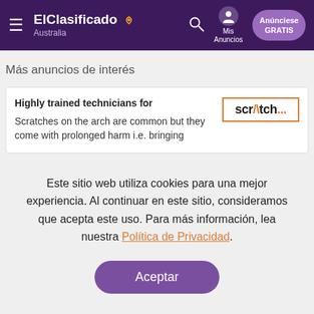ElClasificado Australia — Mis Anuncios — Anúnciese GRATIS
Más anuncios de interés
Highly trained technicians for
Scratches on the arch are common but they come with prolonged harm i.e. bringing
Este sitio web utiliza cookies para una mejor experiencia. Al continuar en este sitio, consideramos que acepta este uso. Para más información, lea nuestra Política de Privacidad.
Aceptar